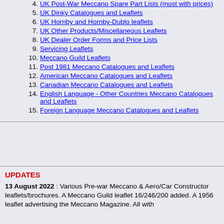4. UK Post-War Meccano Spare Part Lists (most with prices)
5. UK Dinky Catalogues and Leaflets
6. UK Hornby and Hornby-Dublo leaflets
7. UK Other Products/Miscellaneous Leaflets
8. UK Dealer Order Forms and Price Lists
9. Servicing Leaflets
10. Meccano Guild Leaflets
11. Post 1981 Meccano Catalogues and Leaflets
12. American Meccano Catalogues and Leaflets
13. Canadian Meccano Catalogues and Leaflets
14. English Language - Other Countries Meccano Catalogues and Leaflets
15. Foreign Language Meccano Catalogues and Leaflets
UPDATES
13 August 2022 : Various Pre-war Meccano & Aero/Car Constructor leaflets/brochures. A Meccano Guild leaflet 16/246/200 added. A 1956 leaflet advertising the Meccano Magazine. All with